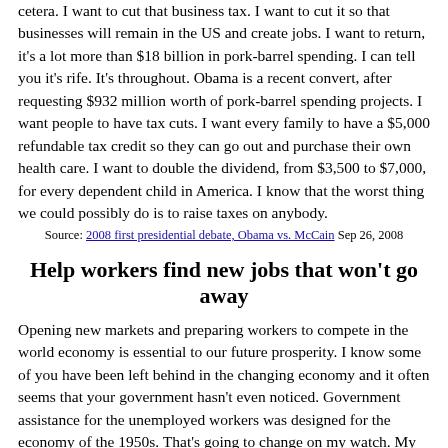cetera. I want to cut that business tax. I want to cut it so that businesses will remain in the US and create jobs. I want to return, it's a lot more than $18 billion in pork-barrel spending. I can tell you it's rife. It's throughout. Obama is a recent convert, after requesting $932 million worth of pork-barrel spending projects. I want people to have tax cuts. I want every family to have a $5,000 refundable tax credit so they can go out and purchase their own health care. I want to double the dividend, from $3,500 to $7,000, for every dependent child in America. I know that the worst thing we could possibly do is to raise taxes on anybody.
Source: 2008 first presidential debate, Obama vs. McCain  Sep 26, 2008
Help workers find new jobs that won't go away
Opening new markets and preparing workers to compete in the world economy is essential to our future prosperity. I know some of you have been left behind in the changing economy and it often seems that your government hasn't even noticed. Government assistance for the unemployed workers was designed for the economy of the 1950s. That's going to change on my watch. My opponent promises to bring back old jobs by wishing away the global economy. We're going to help workers who've lost a job that won't come back find a new one that won't go away. We will prepare them for the jobs of today. We will use our community colleges to help train people for new opportunities in their